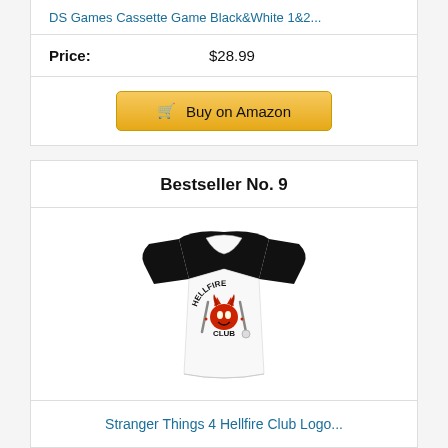DS Games Cassette Game Black&White 1&2...
Price: $28.99
Buy on Amazon
Bestseller No. 9
[Figure (photo): Hellfire Club long-sleeve baseball shirt with black sleeves and white body, featuring Hellfire Club logo graphic]
Stranger Things 4 Hellfire Club Logo...